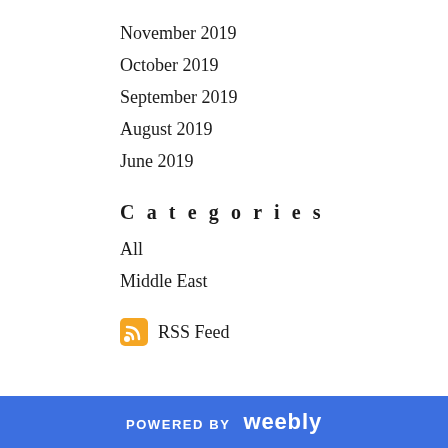November 2019
October 2019
September 2019
August 2019
June 2019
Categories
All
Middle East
RSS Feed
POWERED BY weebly